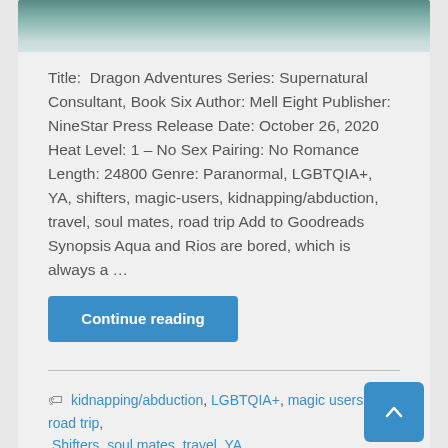[Figure (photo): Partial book cover image showing a teal/seafoam colored background, cropped at top]
Title:  Dragon Adventures Series: Supernatural Consultant, Book Six Author: Mell Eight Publisher: NineStar Press Release Date: October 26, 2020 Heat Level: 1 – No Sex Pairing: No Romance Length: 24800 Genre: Paranormal, LGBTQIA+, YA, shifters, magic-users, kidnapping/abduction, travel, soul mates, road trip Add to Goodreads Synopsis Aqua and Rios are bored, which is always a ...
Continue reading
kidnapping/abduction, LGBTQIA+, magic users, road trip, Shifters, soul mates, travel, YA
Leave co...